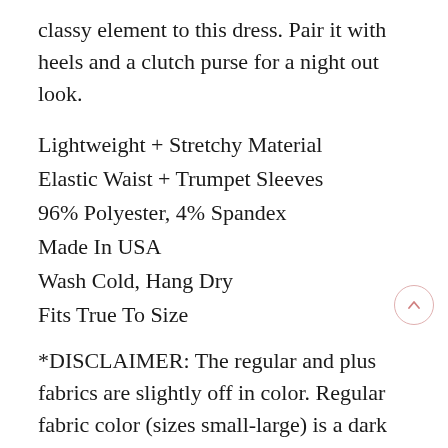classy element to this dress. Pair it with heels and a clutch purse for a night out look.
Lightweight + Stretchy Material
Elastic Waist + Trumpet Sleeves
96% Polyester, 4% Spandex
Made In USA
Wash Cold, Hang Dry
Fits True To Size
*DISCLAIMER: The regular and plus fabrics are slightly off in color. Regular fabric color (sizes small-large) is a dark charcoal, plus fabric color (sizes 1XL-3XL) is a light charcoal. The difference of color shown in the pictures below.